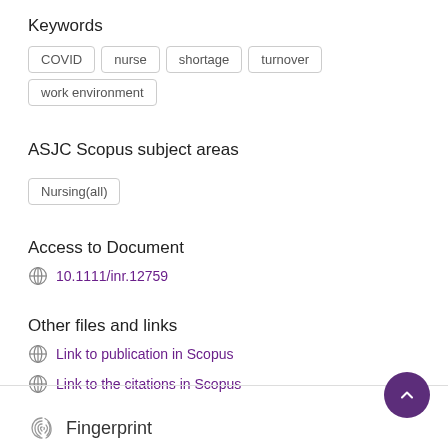Keywords
COVID
nurse
shortage
turnover
work environment
ASJC Scopus subject areas
Nursing(all)
Access to Document
10.1111/inr.12759
Other files and links
Link to publication in Scopus
Link to the citations in Scopus
Fingerprint